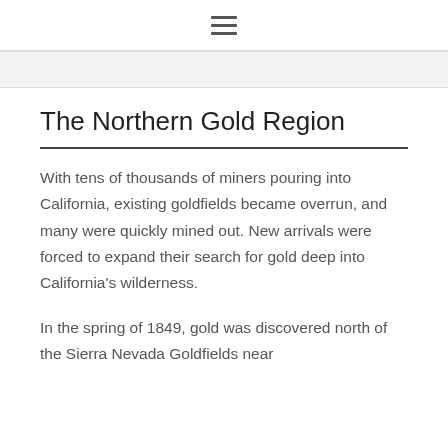☰
The Northern Gold Region
With tens of thousands of miners pouring into California, existing goldfields became overrun, and many were quickly mined out. New arrivals were forced to expand their search for gold deep into California's wilderness.
In the spring of 1849, gold was discovered north of the Sierra Nevada Goldfields near